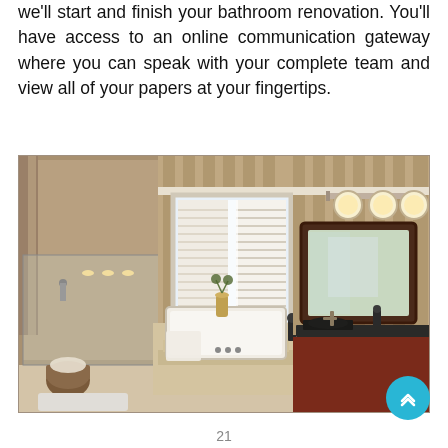we'll start and finish your bathroom renovation. You'll have access to an online communication gateway where you can speak with your complete team and view all of your papers at your fingertips.
[Figure (photo): Interior photo of a luxury bathroom featuring a walk-in tile shower on the left, a soaking tub in the center beneath a bay window with white plantation shutters, striped wallpaper on the walls, and a dark wood double vanity with a large framed mirror and light bar on the right.]